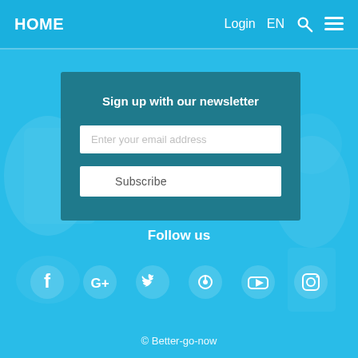HOME  Login  EN
Sign up with our newsletter
Enter your email address
Subscribe
Follow us
[Figure (infographic): Social media icons row: Facebook, Google+, Twitter, Pinterest, YouTube, Instagram]
© Better-go-now